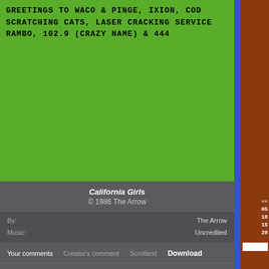GREETINGS TO WACO & PINGE, IXION, COD SCRATCHING CATS, LASER CRACKING SERVICE RAMBO, 102.9 (CRAZY NAME) & 444
California Girls
© 1986 The Arrow
By: The Arrow
Music: Uncredited
Your comments  Creator's comment  Scrolltext  Download
Your comments
There are no comments for this demo.
This demo has been downloaded 1631 times.
Direct link: www.c64.com?type=2&id=1943.
««
05
10
15
20